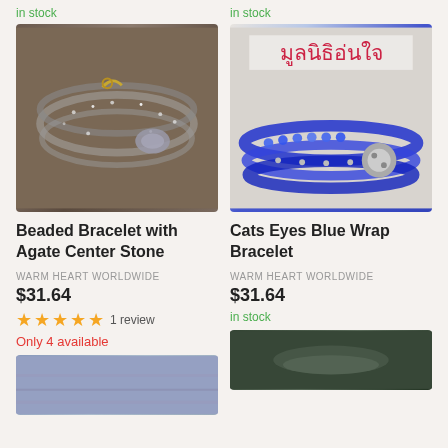in stock
[Figure (photo): Beaded bracelet with sparkly dark beads and a gray agate center stone on a wooden surface]
in stock
[Figure (photo): Blue wrap bracelet with cats eye beads and silver button closure, with Thai text in pink at top]
Beaded Bracelet with Agate Center Stone
Cats Eyes Blue Wrap Bracelet
WARM HEART WORLDWIDE
WARM HEART WORLDWIDE
$31.64
$31.64
★★★★★ 1 review
in stock
Only 4 available
[Figure (photo): Partial view of a bracelet with blue and white beads]
[Figure (photo): Partial view of a bracelet on a wrist against dark background]